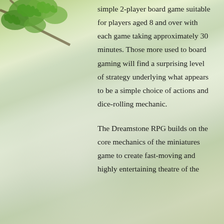[Figure (illustration): Background image of a woodland path with green foliage, misty forest trail, and dappled light. Oak leaves visible in top-left corner.]
simple 2-player board game suitable for players aged 8 and over with each game taking approximately 30 minutes. Those more used to board gaming will find a surprising level of strategy underlying what appears to be a simple choice of actions and dice-rolling mechanic.
The Dreamstone RPG builds on the core mechanics of the miniatures game to create fast-moving and highly entertaining theatre of the mind role-playing adventures.